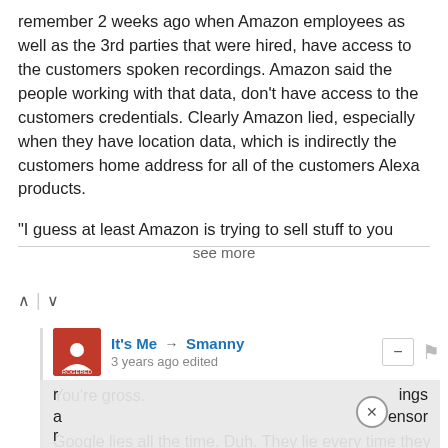remember 2 weeks ago when Amazon employees as well as the 3rd parties that were hired, have access to the customers spoken recordings. Amazon said the people working with that data, don't have access to the customers credentials. Clearly Amazon lied, especially when they have location data, which is indirectly the customers home address for all of the customers Alexa products.
"I guess at least Amazon is trying to sell stuff to you
see more
It's Me → Smanny
3 years ago edited
You're gross.

Google lies all the time. Duh. They lie every time they get caught stealing info, hoovering up wifi during their war drives, modifying search data to lead and
...ings
...ensor
...